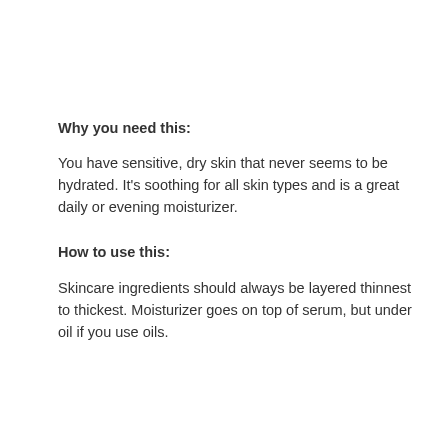Why you need this:
You have sensitive, dry skin that never seems to be hydrated. It's soothing for all skin types and is a great daily or evening moisturizer.
How to use this:
Skincare ingredients should always be layered thinnest to thickest. Moisturizer goes on top of serum, but under oil if you use oils.